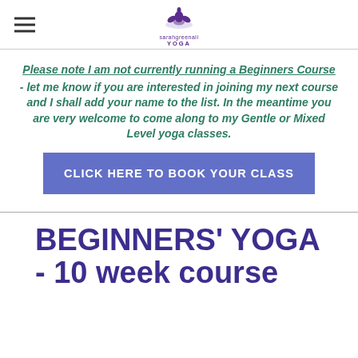sarahgreenali YOGA (logo header)
Please note I am not currently running a Beginners Course - let me know if you are interested in joining my next course and I shall add your name to the list. In the meantime you are very welcome to come along to my Gentle or Mixed Level yoga classes.
CLICK HERE TO BOOK YOUR CLASS
BEGINNERS' YOGA - 10 week course